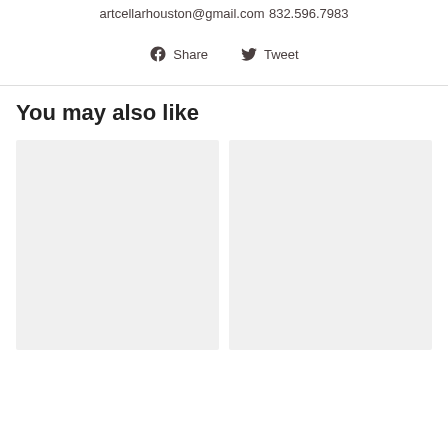artcellarhouston@gmail.com
832.596.7983
[Figure (infographic): Facebook Share and Twitter Tweet social sharing buttons with icons]
You may also like
[Figure (photo): Product image placeholder (light gray box, left)]
[Figure (photo): Product image placeholder (light gray box, right)]